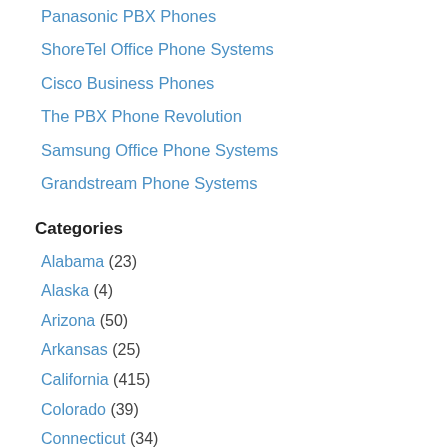Panasonic PBX Phones
ShoreTel Office Phone Systems
Cisco Business Phones
The PBX Phone Revolution
Samsung Office Phone Systems
Grandstream Phone Systems
Categories
Alabama (23)
Alaska (4)
Arizona (50)
Arkansas (25)
California (415)
Colorado (39)
Connecticut (34)
Delaware (5)
Florida (165)
Georgia (96)
Hawaii (2)
Idaho (17)
Illinois (202)